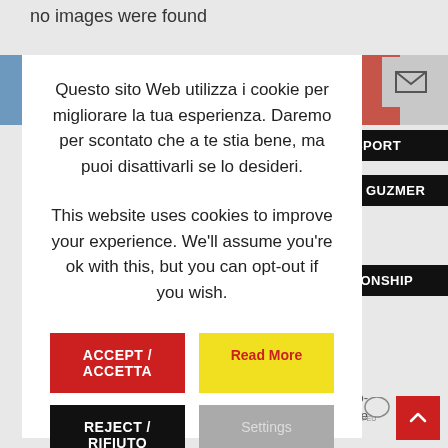no images were found
[Figure (screenshot): Website screenshot showing a cookie consent modal dialog over an automotive website. The modal contains Italian and English cookie consent text, with ACCEPT/ACCETTA button in red, Read More in yellow, REJECT/RIFIUTO in black, and Settings in gray. Behind the modal are partially visible sidebar labels: AUDI SPORT, PETER GUZMER, HAMPIONSHIP. Top right shows an email icon. Bottom right shows a back-to-top red button and Peugeot logo.]
Questo sito Web utilizza i cookie per migliorare la tua esperienza. Daremo per scontato che a te stia bene, ma puoi disattivarli se lo desideri.
This website uses cookies to improve your experience. We'll assume you're ok with this, but you can opt-out if you wish.
ACCEPT / ACCETTA
Read More
REJECT / RIFIUTO
Settings